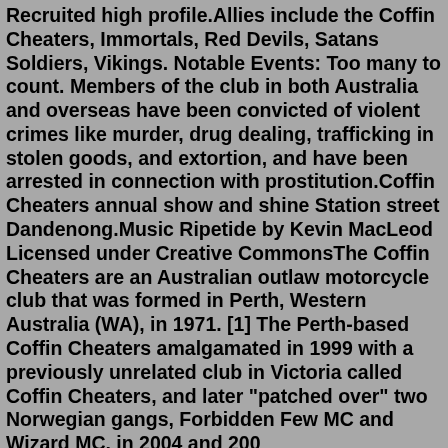Recruited high profile.Allies include the Coffin Cheaters, Immortals, Red Devils, Satans Soldiers, Vikings. Notable Events: Too many to count. Members of the club in both Australia and overseas have been convicted of violent crimes like murder, drug dealing, trafficking in stolen goods, and extortion, and have been arrested in connection with prostitution.Coffin Cheaters annual show and shine Station street Dandenong.Music Ripetide by Kevin MacLeod Licensed under Creative CommonsThe Coffin Cheaters are an Australian outlaw motorcycle club that was formed in Perth, Western Australia (WA), in 1971. [1] The Perth-based Coffin Cheaters amalgamated in 1999 with a previously unrelated club in Victoria called Coffin Cheaters, and later "patched over" two Norwegian gangs, Forbidden Few MC and Wizard MC, in 2004 and 200 respectively..amanda martin iron resurrection pictures. Coffin Cheaters MC. Notorious MC was founded in Sydney, Australia in 2007. Convicted killer Moudi Tajjour (pictured), 34, is the new national